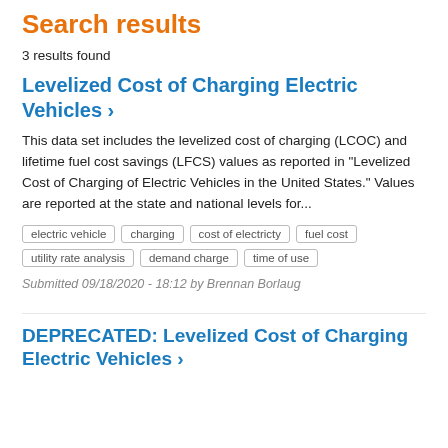Search results
3 results found
Levelized Cost of Charging Electric Vehicles ›
This data set includes the levelized cost of charging (LCOC) and lifetime fuel cost savings (LFCS) values as reported in "Levelized Cost of Charging of Electric Vehicles in the United States." Values are reported at the state and national levels for...
electric vehicle
charging
cost of electricty
fuel cost
utility rate analysis
demand charge
time of use
Submitted 09/18/2020 - 18:12 by Brennan Borlaug
DEPRECATED: Levelized Cost of Charging Electric Vehicles ›